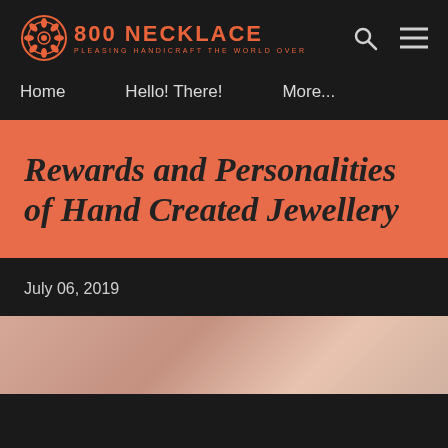800 NECKLACE – PLEASING HANDICRAFT THE WORLD OVER
Home   Hello! There!   More...
Rewards and Personalities of Hand Created Jewellery
July 06, 2019
[Figure (photo): Close-up photo of a person's wrist/hand wearing a bracelet, skin tone, partial view at bottom of page]